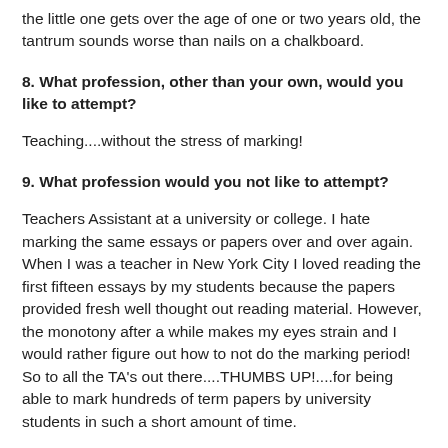the little one gets over the age of one or two years old, the tantrum sounds worse than nails on a chalkboard.
8. What profession, other than your own, would you like to attempt?
Teaching....without the stress of marking!
9. What profession would you not like to attempt?
Teachers Assistant at a university or college. I hate marking the same essays or papers over and over again. When I was a teacher in New York City I loved reading the first fifteen essays by my students because the papers provided fresh well thought out reading material. However, the monotony after a while makes my eyes strain and I would rather figure out how to not do the marking period! So to all the TA's out there....THUMBS UP!....for being able to mark hundreds of term papers by university students in such a short amount of time.
10. If Heaven exists, what would you like to hear God